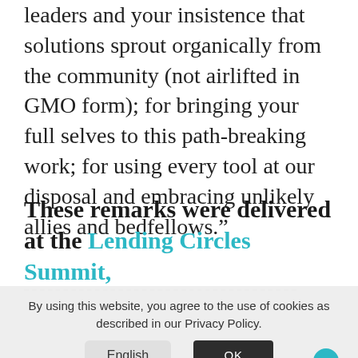leaders and your insistence that solutions sprout organically from the community (not airlifted in GMO form); for bringing your full selves to this path-breaking work; for using every tool at our disposal and embracing unlikely allies and bedfellows.”
These remarks were delivered at the Lending Circles Summit,
By using this website, you agree to the use of cookies as described in our Privacy Policy.